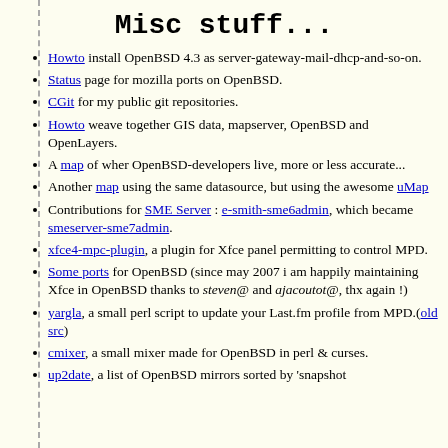Misc stuff...
Howto install OpenBSD 4.3 as server-gateway-mail-dhcp-and-so-on.
Status page for mozilla ports on OpenBSD.
CGit for my public git repositories.
Howto weave together GIS data, mapserver, OpenBSD and OpenLayers.
A map of wher OpenBSD-developers live, more or less accurate...
Another map using the same datasource, but using the awesome uMap
Contributions for SME Server : e-smith-sme6admin, which became smeserver-sme7admin.
xfce4-mpc-plugin, a plugin for Xfce panel permitting to control MPD.
Some ports for OpenBSD (since may 2007 i am happily maintaining Xfce in OpenBSD thanks to steven@ and ajacoutot@, thx again !)
yargla, a small perl script to update your Last.fm profile from MPD.(old src)
cmixer, a small mixer made for OpenBSD in perl & curses.
up2date, a list of OpenBSD mirrors sorted by 'snapshot